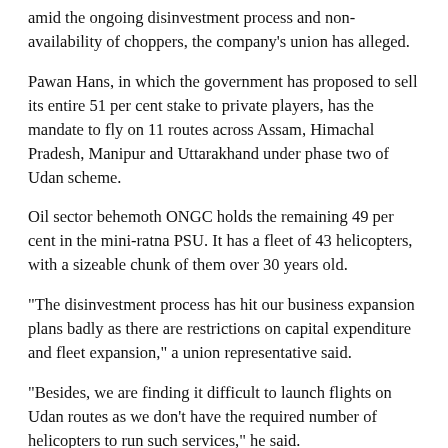amid the ongoing disinvestment process and non-availability of choppers, the company's union has alleged.
Pawan Hans, in which the government has proposed to sell its entire 51 per cent stake to private players, has the mandate to fly on 11 routes across Assam, Himachal Pradesh, Manipur and Uttarakhand under phase two of Udan scheme.
Oil sector behemoth ONGC holds the remaining 49 per cent in the mini-ratna PSU. It has a fleet of 43 helicopters, with a sizeable chunk of them over 30 years old.
“The disinvestment process has hit our business expansion plans badly as there are restrictions on capital expenditure and fleet expansion,” a union representative said.
“Besides, we are finding it difficult to launch flights on Udan routes as we don’t have the required number of helicopters to run such services,” he said.
The disinvestment process should not come as a roadblock in the business expansion plans of the company, he further said.